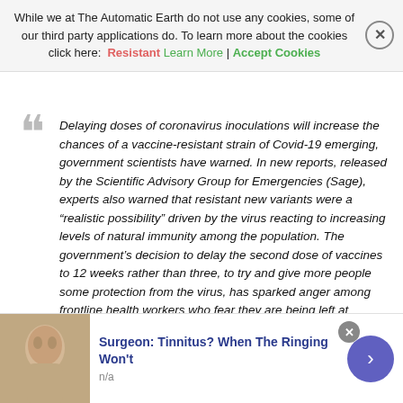While we at The Automatic Earth do not use any cookies, some of our third party applications do. To learn more about the cookies click here: Learn More | Accept Cookies
Delaying doses of coronavirus inoculations will increase the chances of a vaccine-resistant strain of Covid-19 emerging, government scientists have warned. In new reports, released by the Scientific Advisory Group for Emergencies (Sage), experts also warned that resistant new variants were a “realistic possibility” driven by the virus reacting to increasing levels of natural immunity among the population. The government’s decision to delay the second dose of vaccines to 12 weeks rather than three, to try and give more people some protection from the virus, has sparked anger among frontline health workers who fear they are being left at increased risk from infections.
There have also been suggestions from Israel, that have yet to be fully validated, that the protection from a first dose could be far less
[Figure (photo): Advertisement banner: image of a person lying down (tinnitus ad), with text 'Surgeon: Tinnitus? When The Ringing Won’t' and label 'n/a', with a purple arrow button and close button.]